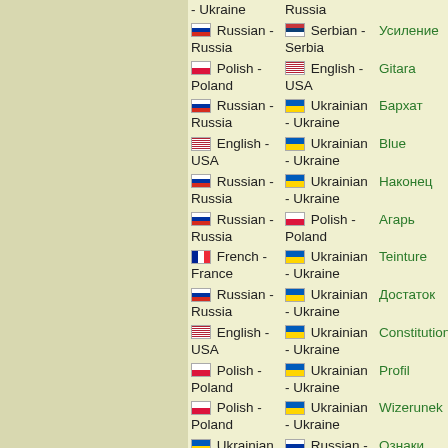| Language 1 | Language 2 | Word |
| --- | --- | --- |
| - Ukraine | Russia |  |
| 🇷🇺 Russian - Russia | 🇷🇸 Serbian - Serbia | Усиление |
| 🇵🇱 Polish - Poland | 🇺🇸 English - USA | Gitara |
| 🇷🇺 Russian - Russia | 🇺🇦 Ukrainian - Ukraine | Бархат |
| 🇺🇸 English - USA | 🇺🇦 Ukrainian - Ukraine | Blue |
| 🇷🇺 Russian - Russia | 🇺🇦 Ukrainian - Ukraine | Наконец |
| 🇷🇺 Russian - Russia | 🇵🇱 Polish - Poland | Агарь |
| 🇫🇷 French - France | 🇺🇦 Ukrainian - Ukraine | Teinture |
| 🇷🇺 Russian - Russia | 🇺🇦 Ukrainian - Ukraine | Достаток |
| 🇺🇸 English - USA | 🇺🇦 Ukrainian - Ukraine | Constitution |
| 🇵🇱 Polish - Poland | 🇺🇦 Ukrainian - Ukraine | Profil |
| 🇵🇱 Polish - Poland | 🇺🇦 Ukrainian - Ukraine | Wizerunek |
| 🇺🇦 Ukrainian | 🇷🇺 Russian - | Ознаки |